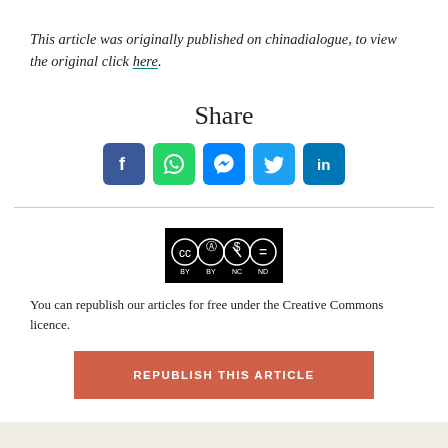This article was originally published on chinadialogue, to view the original click here.
Share
[Figure (infographic): Social media share buttons: Facebook, WhatsApp, Messenger, Twitter, LinkedIn]
[Figure (logo): Creative Commons BY-NC-ND license badge]
You can republish our articles for free under the Creative Commons licence.
REPUBLISH THIS ARTICLE